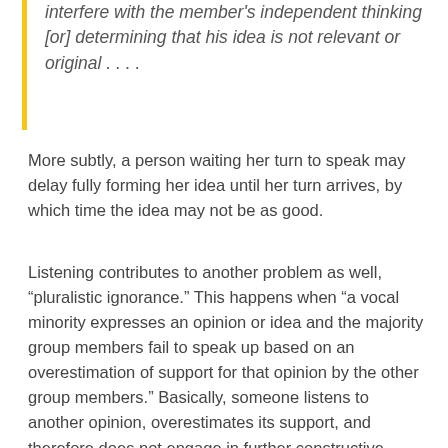interfere with the member's independent thinking [or] determining that his idea is not relevant or original . . . .
More subtly, a person waiting her turn to speak may delay fully forming her idea until her turn arrives, by which time the idea may not be as good.
Listening contributes to another problem as well, “pluralistic ignorance.” This happens when “a vocal minority expresses an opinion or idea and the majority group members fail to speak up based on an overestimation of support for that opinion by the other group members.” Basically, someone listens to another opinion, overestimates its support, and therefore does not engage in further constructive discussion.